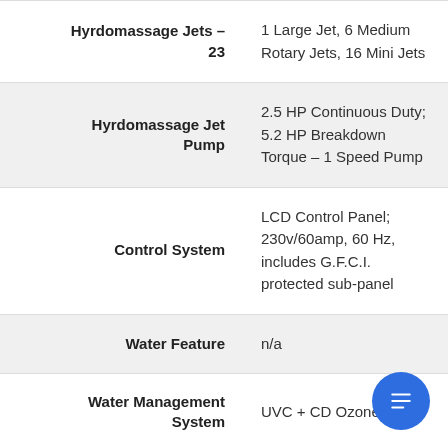| Feature | Details |
| --- | --- |
| Hyrdomassage Jets – 23 | 1 Large Jet, 6 Medium Rotary Jets, 16 Mini Jets |
| Hyrdomassage Jet Pump | 2.5 HP Continuous Duty; 5.2 HP Breakdown Torque – 1 Speed Pump |
| Control System | LCD Control Panel; 230v/60amp, 60 Hz, includes G.F.C.I. protected sub-panel |
| Water Feature | n/a |
| Water Management System | UVC + CD Ozone |